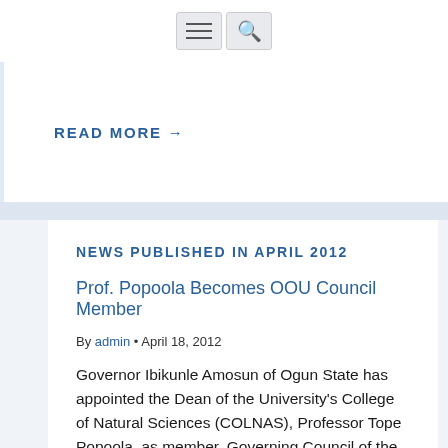[Figure (other): Navigation bar with hamburger menu icon and search icon]
READ MORE →
NEWS PUBLISHED IN APRIL 2012
Prof. Popoola Becomes OOU Council Member
By admin • April 18, 2012
Governor Ibikunle Amosun of Ogun State has appointed the Dean of the University's College of Natural Sciences (COLNAS), Professor Tope Popoola, as member, Governing Council of the Olabisi Onabanjo University (OOU). As a bonus, Prof...